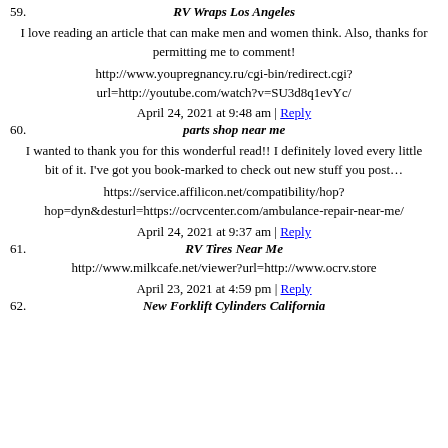59. RV Wraps Los Angeles
I love reading an article that can make men and women think. Also, thanks for permitting me to comment!
http://www.youpregnancy.ru/cgi-bin/redirect.cgi?url=http://youtube.com/watch?v=SU3d8q1evYc/
April 24, 2021 at 9:48 am | Reply
60. parts shop near me
I wanted to thank you for this wonderful read!! I definitely loved every little bit of it. I've got you book-marked to check out new stuff you post…
https://service.affilicon.net/compatibility/hop?hop=dyn&desturl=https://ocrvcenter.com/ambulance-repair-near-me/
April 24, 2021 at 9:37 am | Reply
61. RV Tires Near Me
http://www.milkcafe.net/viewer?url=http://www.ocrv.store
April 23, 2021 at 4:59 pm | Reply
62. New Forklift Cylinders California